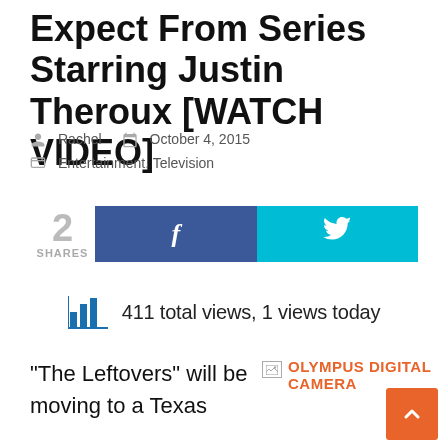Expect From Series Starring Justin Theroux [WATCH VIDEO]
Rachel  October 4, 2015  Entertainment, Television
[Figure (infographic): Share count showing 2 SHARES with Facebook (blue) and Twitter (cyan) social share buttons]
[Figure (infographic): Bar chart icon with text: 411 total views, 1 views today]
“The Leftovers” will be moving to a Texas
[Figure (photo): Broken image placeholder labeled OLYMPUS DIGITAL CAMERA in orange text]